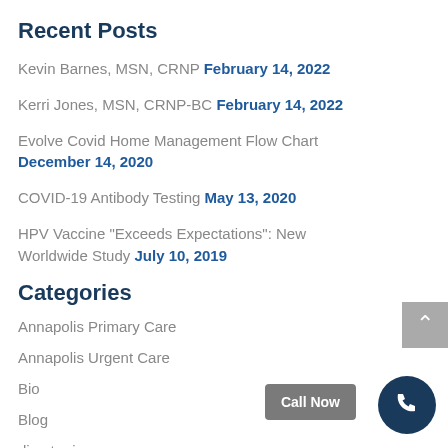Recent Posts
Kevin Barnes, MSN, CRNP February 14, 2022
Kerri Jones, MSN, CRNP-BC February 14, 2022
Evolve Covid Home Management Flow Chart December 14, 2020
COVID-19 Antibody Testing May 13, 2020
HPV Vaccine "Exceeds Expectations": New Worldwide Study July 10, 2019
Categories
Annapolis Primary Care
Annapolis Urgent Care
Bio
Blog
direct primary care